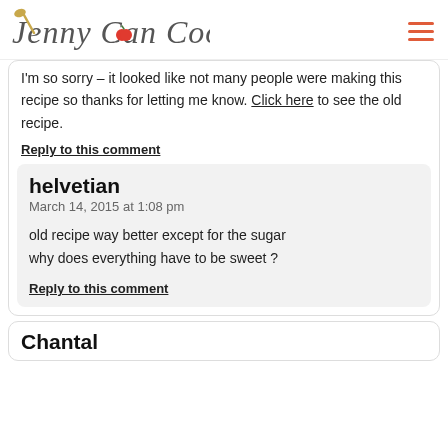Jenny Can Cook
I'm so sorry – it looked like not many people were making this recipe so thanks for letting me know. Click here to see the old recipe.
Reply to this comment
helvetian
March 14, 2015 at 1:08 pm
old recipe way better except for the sugar
why does everything have to be sweet ?
Reply to this comment
Chantal